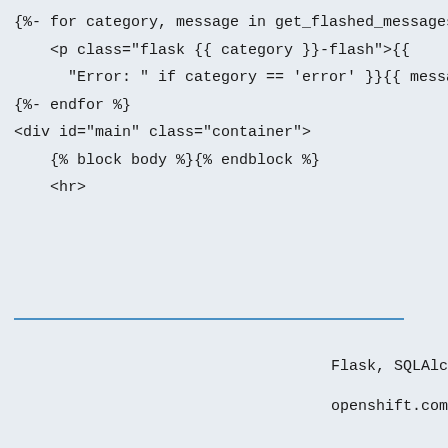[Figure (screenshot): Code editor screenshot showing Jinja2/Flask template code: for loop with get_flashed_messages, p tag with flask class, error condition, endfor, div id=main container, block body/endblock, hr tag]
How we use cookies

We use cookies on our websites to deliver our online services. Details about how we use cookies and how you may disable them are set out in our Privacy Statement. By using this website you agree to our use of cookies.